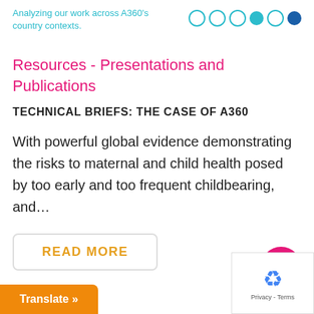Analyzing our work across A360's country contexts.
Resources - Presentations and Publications
TECHNICAL BRIEFS: THE CASE OF A360
With powerful global evidence demonstrating the risks to maternal and child health posed by too early and too frequent childbearing, and…
READ MORE
Translate »
Privacy - Terms